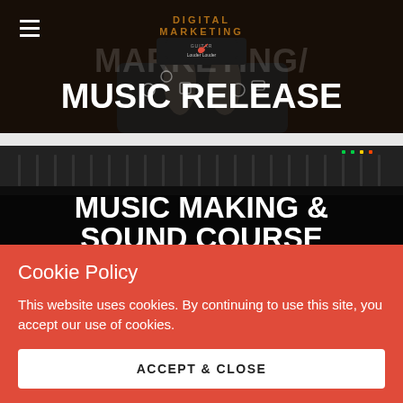[Figure (screenshot): Top banner with dark background showing digital marketing / music release website header. Includes hamburger menu icon, logo, and bold white text reading DIGITAL MARKETING/ MUSIC RELEASE over a person's feet near a tablet with social media icons.]
[Figure (screenshot): Second banner with dark background showing music mixing console. Bold white text reads MUSIC MAKING & SOUND COURSE.]
Cookie Policy
This website uses cookies. By continuing to use this site, you accept our use of cookies.
ACCEPT & CLOSE